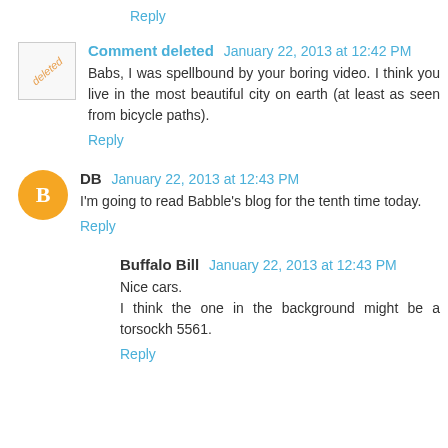Reply
Comment deleted  January 22, 2013 at 12:42 PM
Babs, I was spellbound by your boring video. I think you live in the most beautiful city on earth (at least as seen from bicycle paths).
Reply
DB  January 22, 2013 at 12:43 PM
I'm going to read Babble's blog for the tenth time today.
Reply
Buffalo Bill  January 22, 2013 at 12:43 PM
Nice cars.
I think the one in the background might be a torsockh 5561.
Reply